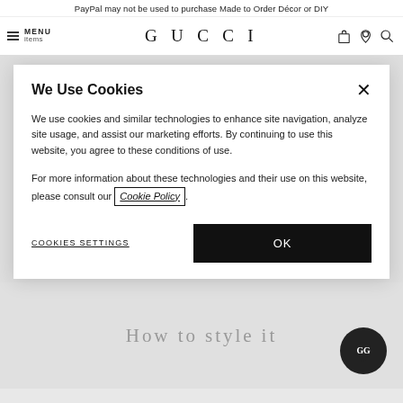PayPal may not be used to purchase Made to Order Décor or DIY items
[Figure (screenshot): Gucci website navigation bar with hamburger menu, MENU label, GUCCI logo in center, and shopping bag, location pin, and search icons on the right]
We Use Cookies
We use cookies and similar technologies to enhance site navigation, analyze site usage, and assist our marketing efforts. By continuing to use this website, you agree to these conditions of use.
For more information about these technologies and their use on this website, please consult our Cookie Policy.
COOKIES SETTINGS
OK
How to style it